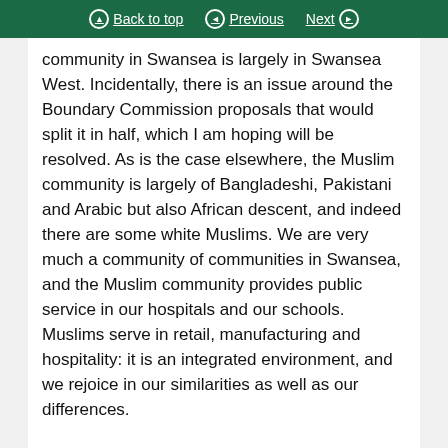Back to top | Previous | Next
community in Swansea is largely in Swansea West. Incidentally, there is an issue around the Boundary Commission proposals that would split it in half, which I am hoping will be resolved. As is the case elsewhere, the Muslim community is largely of Bangladeshi, Pakistani and Arabic but also African descent, and indeed there are some white Muslims. We are very much a community of communities in Swansea, and the Muslim community provides public service in our hospitals and our schools. Muslims serve in retail, manufacturing and hospitality: it is an integrated environment, and we rejoice in our similarities as well as our differences.
As other speakers have mentioned, the pandemic disproportionately hit certain groups who perhaps